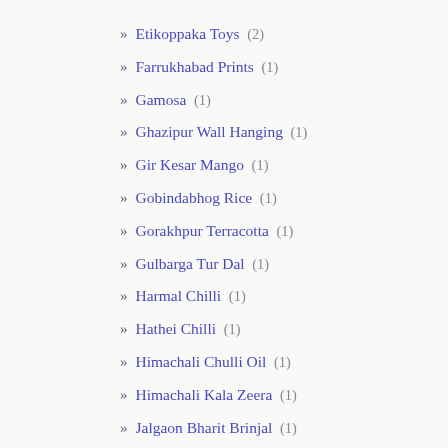Etikoppaka Toys (2)
Farrukhabad Prints (1)
Gamosa (1)
Ghazipur Wall Hanging (1)
Gir Kesar Mango (1)
Gobindabhog Rice (1)
Gorakhpur Terracotta (1)
Gulbarga Tur Dal (1)
Harmal Chilli (1)
Hathei Chilli (1)
Himachali Chulli Oil (1)
Himachali Kala Zeera (1)
Jalgaon Bharit Brinjal (1)
Jalna Sweet Orange (1)
Jeeraphool (1)